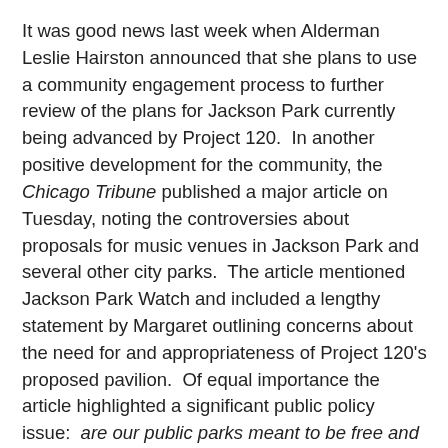It was good news last week when Alderman Leslie Hairston announced that she plans to use a community engagement process to further review of the plans for Jackson Park currently being advanced by Project 120.  In another positive development for the community, the Chicago Tribune published a major article on Tuesday, noting the controversies about proposals for music venues in Jackson Park and several other city parks.  The article mentioned Jackson Park Watch and included a lengthy statement by Margaret outlining concerns about the need for and appropriateness of Project 120's proposed pavilion.  Of equal importance the article highlighted a significant public policy issue:  are our public parks meant to be free and open for the public, or should they be seen as tourist attractions or commercial ventures that can generate revenue for the Park District and the city?
This question has been at the center of controversies